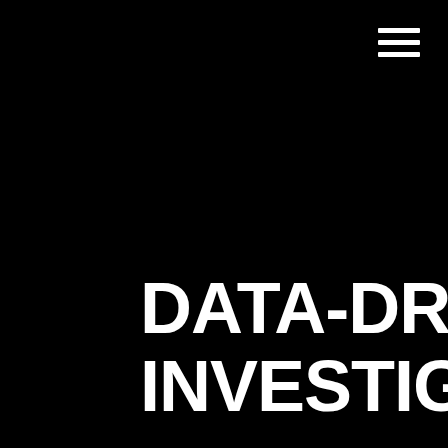[Figure (other): Hamburger menu icon — three horizontal white lines in top-right corner on black background]
DATA-DRIVEN INVESTIGATIONS